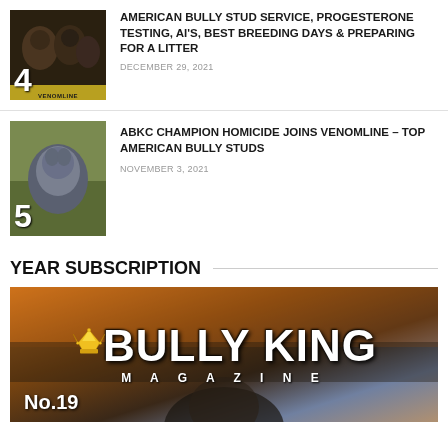[Figure (photo): Thumbnail image #4 showing American Bully dogs collage with VENOMLINE label at bottom]
AMERICAN BULLY STUD SERVICE, PROGESTERONE TESTING, AI'S, BEST BREEDING DAYS & PREPARING FOR A LITTER
DECEMBER 29, 2021
[Figure (photo): Thumbnail image #5 showing ABKC Champion Homicide blue American Bully dog standing on grass]
ABKC CHAMPION HOMICIDE JOINS VENOMLINE – TOP AMERICAN BULLY STUDS
NOVEMBER 3, 2021
YEAR SUBSCRIPTION
[Figure (illustration): Bully King Magazine banner with crown logo, bold white BULLY KING text, MAGAZINE subtitle in spaced letters, and No.19 label on a warm colored background]